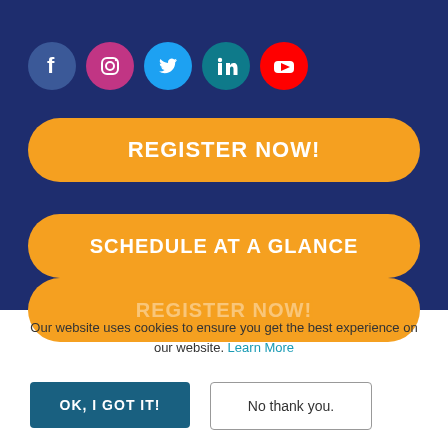[Figure (illustration): Row of five social media icons: Facebook (dark blue circle), Instagram (gradient purple-pink circle), Twitter (cyan circle), LinkedIn (teal circle), YouTube (red circle)]
REGISTER NOW!
SCHEDULE AT A GLANCE
Our website uses cookies to ensure you get the best experience on our website. Learn More
OK, I GOT IT!
No thank you.